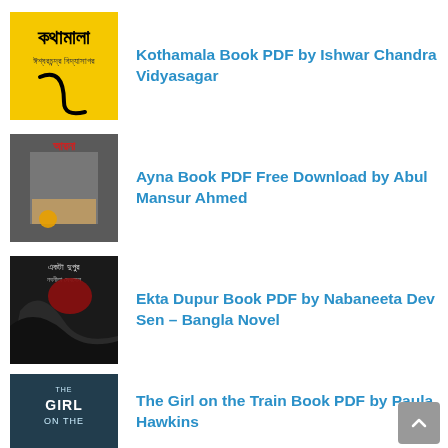[Figure (illustration): Book cover of Kothamala in Bengali, yellow background with Bengali text and a decorative black curve]
Kothamala Book PDF by Ishwar Chandra Vidyasagar
[Figure (illustration): Book cover of Ayna, dark textured background with Bengali red text 'Ayna' at top]
Ayna Book PDF Free Download by Abul Mansur Ahmed
[Figure (illustration): Book cover of Ekta Dupur, dark cover with Bengali text and artistic imagery]
Ekta Dupur Book PDF by Nabaneeta Dev Sen – Bangla Novel
[Figure (illustration): Book cover of The Girl on the Train, teal/dark cover with white text]
The Girl on the Train Book PDF by Paula Hawkins